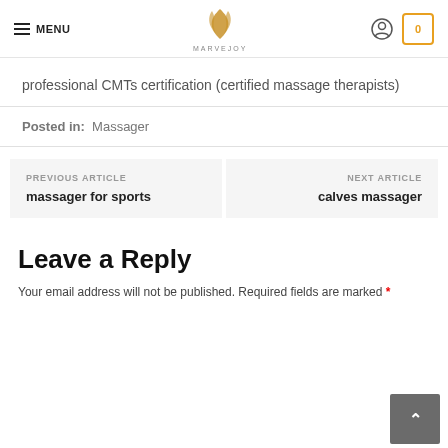MENU | MARVEJOY | [user icon] | 0
professional CMTs certification (certified massage therapists)
Posted in:  Massager
PREVIOUS ARTICLE
massager for sports
NEXT ARTICLE
calves massager
Leave a Reply
Your email address will not be published. Required fields are marked *